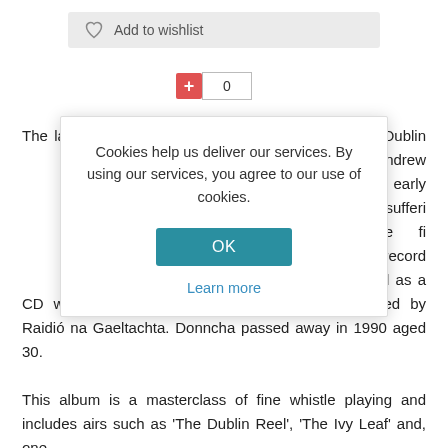[Figure (screenshot): Add to wishlist button with a heart icon on a grey background bar]
[Figure (screenshot): A red plus button next to a counter input box showing 0]
The la known Dublin fiddle), Andre om an early Despite sufferi one of the fi 79 he record ow re-released as a CD with additional tracks which had been recorded by Raidió na Gaeltachta. Donncha passed away in 1990 aged 30. This album is a masterclass of fine whistle playing and includes airs such as 'The Dublin Reel', 'The Ivy Leaf' and, one
Cookies help us deliver our services. By using our services, you agree to our use of cookies. OK Learn more